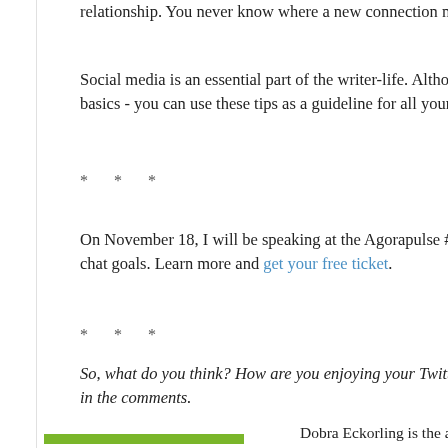relationship. You never know where a new connection may
Social media is an essential part of the writer-life. Although basics - you can use these tips as a guideline for all your n
* * *
On November 18, I will be speaking at the Agorapulse #So chat goals. Learn more and get your free ticket.
* * *
So, what do you think? How are you enjoying your Twitter t in the comments.
Dobra Eckorling is the au